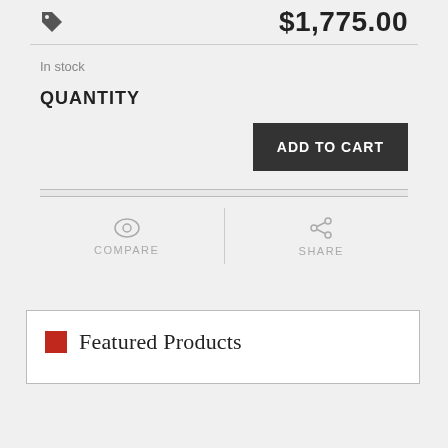$1,775.00
In stock
QUANTITY
ADD TO CART
COMPARE
SHARE
Featured Products